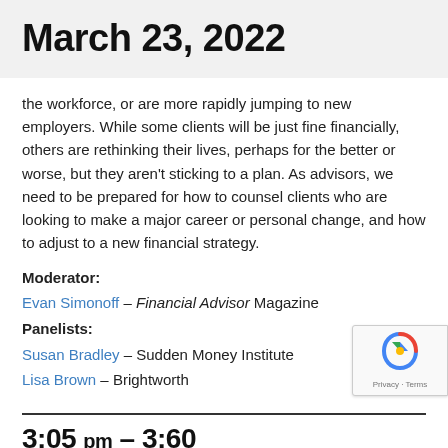March 23, 2022
the workforce, or are more rapidly jumping to new employers.  While some clients will be just fine financially, others are rethinking their lives, perhaps for the better or worse, but they aren't sticking to a plan. As advisors, we need to be prepared for how to counsel clients who are looking to make a major career or personal change, and how to adjust to a new financial strategy.
Moderator: Evan Simonoff – Financial Advisor Magazine
Panelists: Susan Bradley – Sudden Money Institute
Lisa Brown – Brightworth
3:05 pm – 3:60